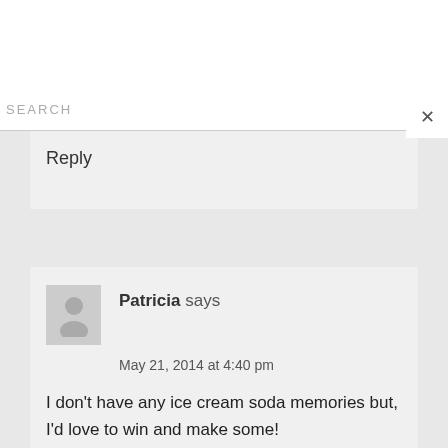SEARCH
×
Reply
Patricia says
May 21, 2014 at 4:40 pm
I don't have any ice cream soda memories but, I'd love to win and make some!